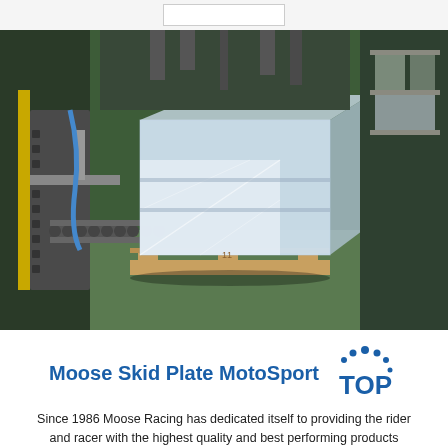[Figure (photo): Industrial photograph showing a large pallet wrapped in clear plastic shrink wrap on a wooden pallet, positioned on a roller conveyor in a manufacturing or warehouse facility. Various industrial machinery and shelving visible in the background.]
Moose Skid Plate MotoSport
Since 1986 Moose Racing has dedicated itself to providing the rider and racer with the highest quality and best performing products